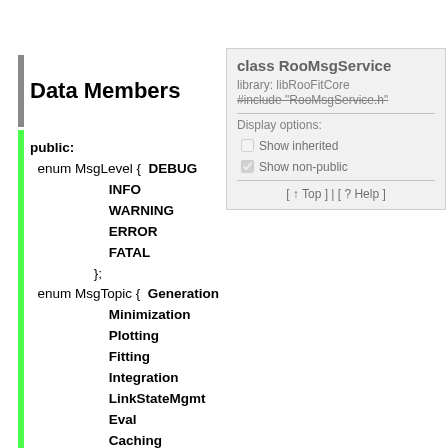Data Members
[Figure (screenshot): Overlay panel showing class RooMsgService with library: libRooFitCore, #include "RooMsgService.h", Display options: Show inherited (unchecked), Show non-public (checked), and navigation links [ ↑ Top ] | [ ? Help ]]
public:
  enum MsgLevel {  DEBUG
                   INFO
                   WARNING
                   ERROR
                   FATAL
               };
  enum MsgTopic {  Generation
                   Minimization
                   Plotting
                   Fitting
                   Integration
                   LinkStateMgmt
                   Eval
                   Caching
                   Optimization
                   ObjectHandling
                   InputArguments
                   Tracing
                   Contents
                   DataHandling
               };